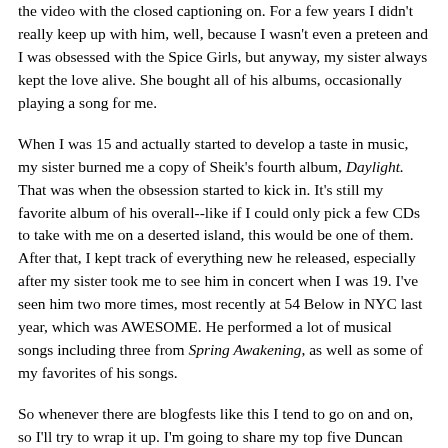the video with the closed captioning on. For a few years I didn't really keep up with him, well, because I wasn't even a preteen and I was obsessed with the Spice Girls, but anyway, my sister always kept the love alive. She bought all of his albums, occasionally playing a song for me.
When I was 15 and actually started to develop a taste in music, my sister burned me a copy of Sheik's fourth album, Daylight. That was when the obsession started to kick in. It's still my favorite album of his overall--like if I could only pick a few CDs to take with me on a deserted island, this would be one of them. After that, I kept track of everything new he released, especially after my sister took me to see him in concert when I was 19. I've seen him two more times, most recently at 54 Below in NYC last year, which was AWESOME. He performed a lot of musical songs including three from Spring Awakening, as well as some of my favorites of his songs.
So whenever there are blogfests like this I tend to go on and on, so I'll try to wrap it up. I'm going to share my top five Duncan Sheik songs...which was really hard for me to pick!